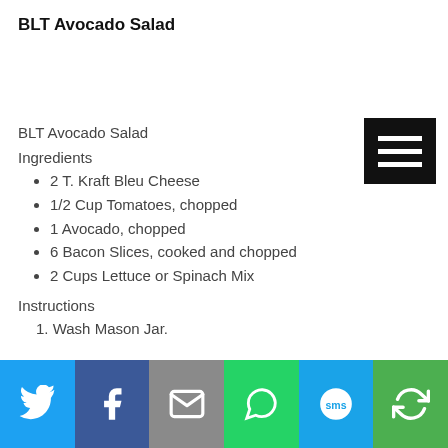BLT Avocado Salad
[Figure (other): Hamburger/menu icon button - three white horizontal lines on black background]
BLT Avocado Salad
Ingredients
2 T. Kraft Bleu Cheese
1/2 Cup Tomatoes, chopped
1 Avocado, chopped
6 Bacon Slices, cooked and chopped
2 Cups Lettuce or Spinach Mix
Instructions
1. Wash Mason Jar.
[Figure (other): Social sharing bar with Twitter, Facebook, Email, WhatsApp, SMS, and Share icons]